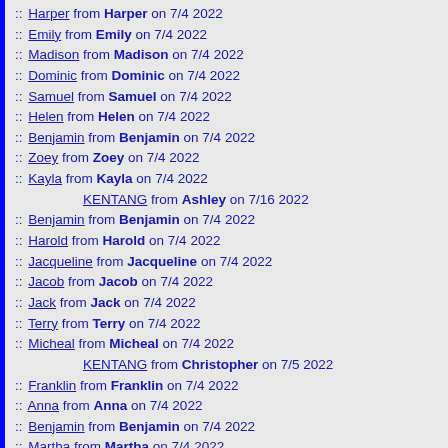:: Harper from Harper on 7/4 2022
:: Emily from Emily on 7/4 2022
:: Madison from Madison on 7/4 2022
:: Dominic from Dominic on 7/4 2022
:: Samuel from Samuel on 7/4 2022
:: Helen from Helen on 7/4 2022
:: Benjamin from Benjamin on 7/4 2022
:: Zoey from Zoey on 7/4 2022
:: Kayla from Kayla on 7/4 2022
KENTANG from Ashley on 7/16 2022
:: Benjamin from Benjamin on 7/4 2022
:: Harold from Harold on 7/4 2022
:: Jacqueline from Jacqueline on 7/4 2022
:: Jacob from Jacob on 7/4 2022
:: Jack from Jack on 7/4 2022
:: Terry from Terry on 7/4 2022
:: Micheal from Micheal on 7/4 2022
KENTANG from Christopher on 7/5 2022
:: Franklin from Franklin on 7/4 2022
:: Anna from Anna on 7/4 2022
:: Benjamin from Benjamin on 7/4 2022
:: Martha from Martha on 7/4 2022
:: Amanda from Amanda on 7/4 2022
:: Activate Binge Tv from Kaku on 7/4 2022
:: Activate Binge Tv from Minati on 7/4 2022
:: Activate Binge Tv from Jarry on 7/4 2022
:: Activate Binge Tv from Danny on 7/4 2022
KENTANG from Heather on 7/16 2022
:: Activate Binge Tv from DZY on 7/4 2022
:: Activate Binge Tv from Carry on 7/4 2022